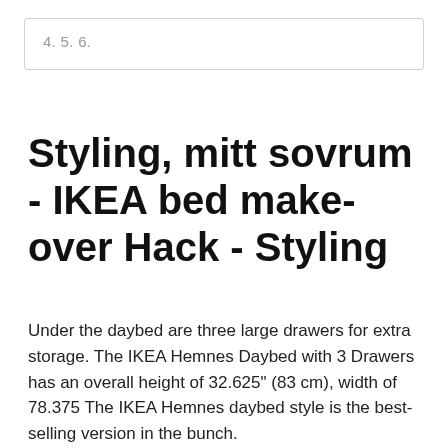4. 5. 6.
Styling, mitt sovrum - IKEA bed make-over Hack - Styling
Under the daybed are three large drawers for extra storage. The IKEA Hemnes Daybed with 3 Drawers has an overall height of 32.625" (83 cm), width of 78.375 The IKEA Hemnes daybed style is the best-selling version in the bunch.